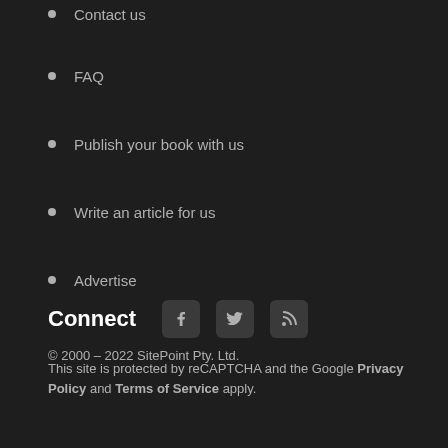Contact us
FAQ
Publish your book with us
Write an article for us
Advertise
Connect
© 2000 – 2022 SitePoint Pty. Ltd.
This site is protected by reCAPTCHA and the Google Privacy Policy and Terms of Service apply.